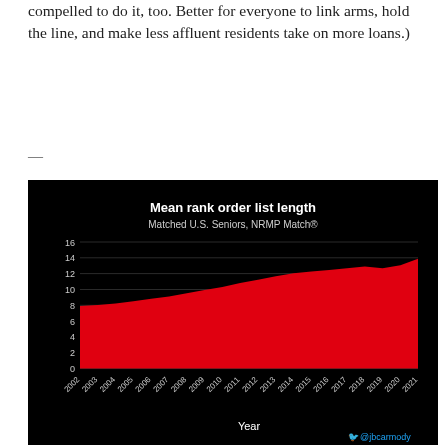compelled to do it, too. Better for everyone to link arms, hold the line, and make less affluent residents take on more loans.)
—
[Figure (area-chart): Mean rank order list length]